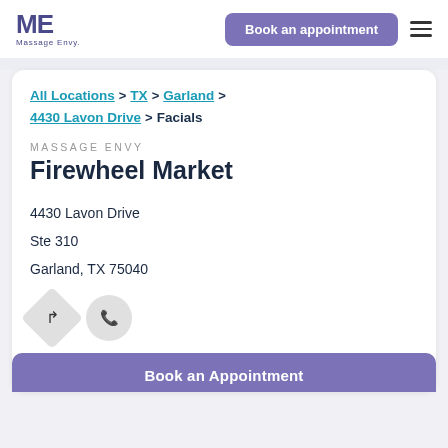[Figure (logo): Massage Envy logo with ME monogram in dark purple]
Book an appointment
All Locations > TX > Garland >
4430 Lavon Drive > Facials
MASSAGE ENVY
Firewheel Market
4430 Lavon Drive
Ste 310
Garland, TX 75040
Book an Appointment